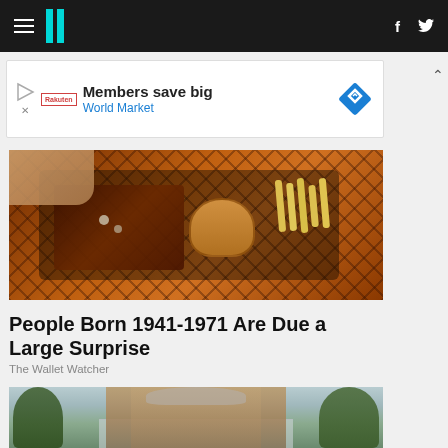HuffPost navigation bar with hamburger menu, logo, Facebook and Twitter icons
[Figure (screenshot): Advertisement banner: Members save big - World Market]
[Figure (photo): Overhead photo of food on a tray: steak, fries, and dipping sauce]
People Born 1941-1971 Are Due a Large Surprise
The Wallet Watcher
[Figure (photo): Outdoor photo of older man with grey hair speaking, trees and building in background]